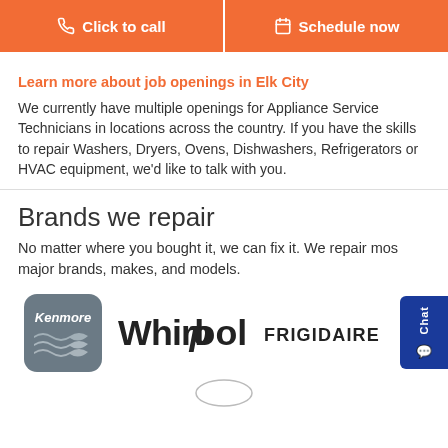[Figure (other): Two orange call-to-action buttons: 'Click to call' with phone icon and 'Schedule now' with calendar icon]
Learn more about job openings in Elk City
We currently have multiple openings for Appliance Service Technicians in locations across the country. If you have the skills to repair Washers, Dryers, Ovens, Dishwashers, Refrigerators or HVAC equipment, we'd like to talk with you.
Brands we repair
No matter where you bought it, we can fix it. We repair most major brands, makes, and models.
[Figure (logo): Kenmore logo (grey rounded square with wave design), Whirlpool logo (black text with stylized P), Frigidaire logo (black bold uppercase text)]